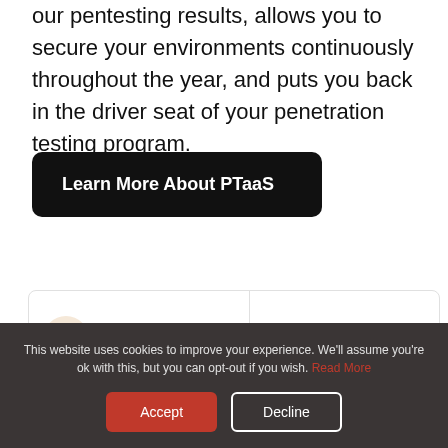our pentesting results, allows you to secure your environments continuously throughout the year, and puts you back in the driver seat of your penetration testing program.
Learn More About PTaaS
8 Apps w/ Vulnerabilit
Unremediated Findings
This website uses cookies to improve your experience. We'll assume you're ok with this, but you can opt-out if you wish. Read More
Accept
Decline